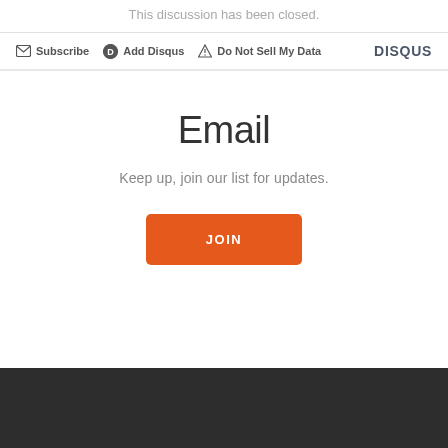This discussion has been closed.
Subscribe  Add Disqus  Do Not Sell My Data  DISQUS
Email
Keep up, join our list for updates.
JOIN